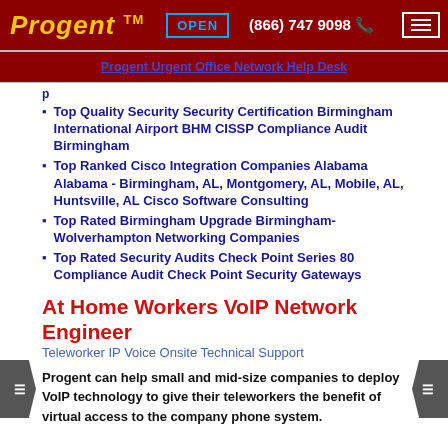Progent™   OPEN   (866) 747 9098
Progent Urgent Office Network Help Desk
p
Top Quality Security Security Certification Birmingham International Airport BHM CISSP Compliance Audit Birmingham
Top Ranked Cisco Integration Companies Alabama Alabama - Birmingham, AL, Montgomery, AL, Mobile, AL, Huntsville, AL Cisco Software Consulting
Top Rated Birmingham Upgrade Birmingham-Wolverhampton Networking Companies
Top Rated Security Audits Check Point Series 80 Compliance Audit Check Point Security Gateways
At Home Workers VoIP Network Engineer
Teleworker IP Voice Onsite Technical Support
Progent can help small and mid-size companies to deploy VoIP technology to give their teleworkers the benefit of virtual access to the company phone system.